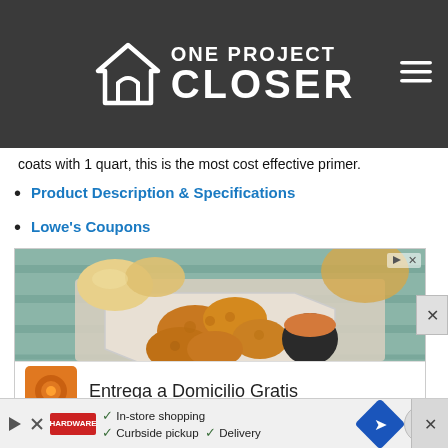[Figure (logo): One Project Closer logo — white house icon with text 'ONE PROJECT CLOSER' on dark gray/charcoal header bar with hamburger menu icon at top right]
coats with 1 quart, this is the most cost effective primer.
Product Description & Specifications
Lowe's Coupons
[Figure (photo): Advertisement showing fried chicken pieces on an octagonal white plate with dipping sauce, dinner rolls in background on teal wooden surface. Bottom bar reads 'Entrega a Domicilio Gratis' with orange brand icon.]
[Figure (screenshot): Bottom ad bar with play button, Ace Hardware logo, checkmarks for In-store shopping, Curbside pickup, Delivery, and blue diamond navigation icon]